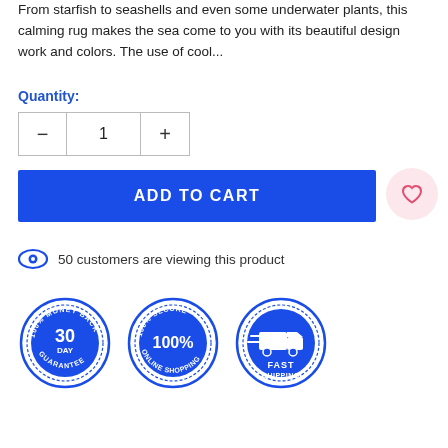From starfish to seashells and even some underwater plants, this calming rug makes the sea come to you with its beautiful design work and colors. The use of cool...
Quantity:
1
ADD TO CART
50 customers are viewing this product
[Figure (infographic): Three circular badge icons in blue: '30 DAY 100% MONEY BACK GUARANTEE', '100% SECURE ONLINE SHOPPING 100%', and 'FAST SHIPPING' with a truck icon]